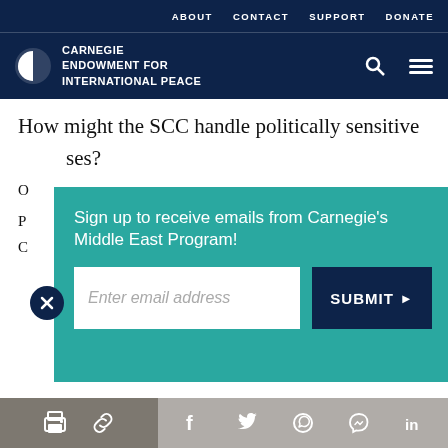ABOUT  CONTACT  SUPPORT  DONATE
CARNEGIE ENDOWMENT FOR INTERNATIONAL PEACE
How might the SCC handle politically sensitive cases?
Sign up to receive emails from Carnegie’s Middle East Program!
Enter email address
SUBMIT ►
in which the judiciary was about to play a powerful role in Egypt’s post-uprising political struggle. But I